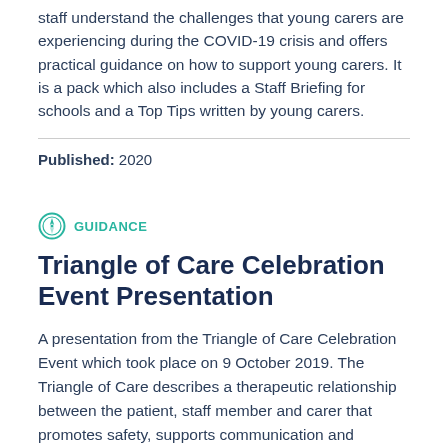staff understand the challenges that young carers are experiencing during the COVID-19 crisis and offers practical guidance on how to support young carers. It is a pack which also includes a Staff Briefing for schools and a Top Tips written by young carers.
Published: 2020
GUIDANCE
Triangle of Care Celebration Event Presentation
A presentation from the Triangle of Care Celebration Event which took place on 9 October 2019. The Triangle of Care describes a therapeutic relationship between the patient, staff member and carer that promotes safety, supports communication and sustains wellbeing.